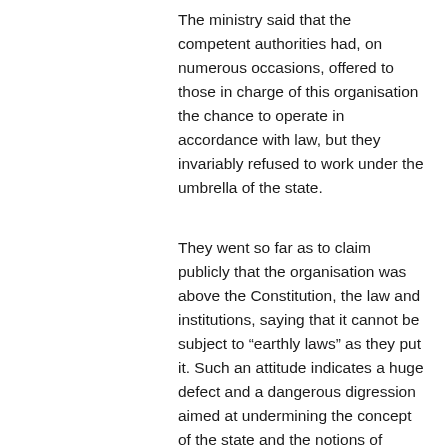The ministry said that the competent authorities had, on numerous occasions, offered to those in charge of this organisation the chance to operate in accordance with law, but they invariably refused to work under the umbrella of the state.
They went so far as to claim publicly that the organisation was above the Constitution, the law and institutions, saying that it cannot be subject to “earthly laws” as they put it. Such an attitude indicates a huge defect and a dangerous digression aimed at undermining the concept of the state and the notions of modernity.